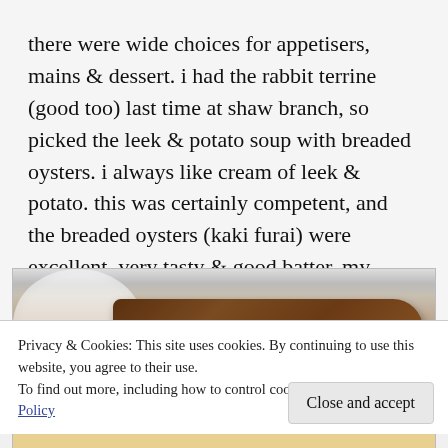there were wide choices for appetisers, mains & dessert. i had the rabbit terrine (good too) last time at shaw branch, so picked the leek & potato soup with breaded oysters. i always like cream of leek & potato. this was certainly competent, and the breaded oysters (kaki furai) were excellent, very tasty & good batter. my friend liked the endives salad with some blue cheese. another friend picked the escargot in red wine with crispy bacon. it was good too. 🙂
[Figure (photo): Photo of a plated meat dish with orange sauce on a white plate, partially visible]
Privacy & Cookies: This site uses cookies. By continuing to use this website, you agree to their use.
To find out more, including how to control cookies, see here: Cookie Policy